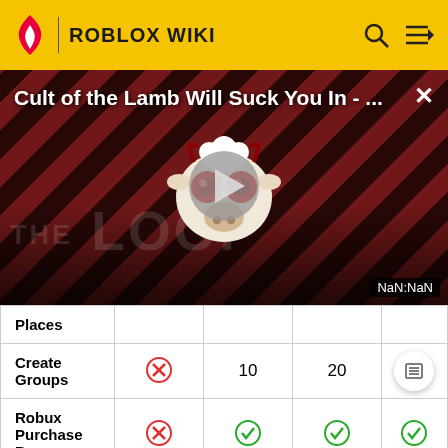ROBLOX WIKI
[Figure (screenshot): Video embed overlay showing 'Cult of the Lamb Will Suck You In - ...' with play button, THE LOOP branding, and NaN:NaN timestamp on a dark diagonal striped background]
|  |  |  |  |  |
| --- | --- | --- | --- | --- |
| Places |  |  |  |  |
| Create Groups | ❌ | 10 | 20 |  |
| Robux Purchase Bonus | ❌ | ✅ | ✅ | ✅ |